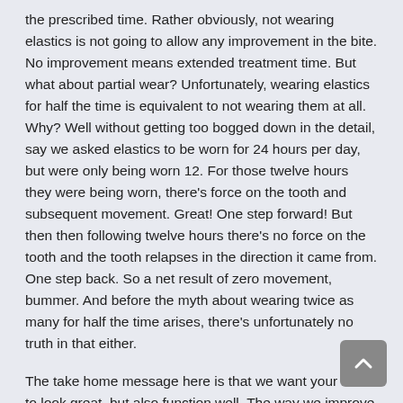the prescribed time. Rather obviously, not wearing elastics is not going to allow any improvement in the bite. No improvement means extended treatment time. But what about partial wear? Unfortunately, wearing elastics for half the time is equivalent to not wearing them at all. Why? Well without getting too bogged down in the detail, say we asked elastics to be worn for 24 hours per day, but were only being worn 12. For those twelve hours they were being worn, there's force on the tooth and subsequent movement. Great! One step forward! But then then following twelve hours there's no force on the tooth and the tooth relapses in the direction it came from. One step back. So a net result of zero movement, bummer. And before the myth about wearing twice as many for half the time arises, there's unfortunately no truth in that either.
The take home message here is that we want your teeth to look great, but also function well. The way we improve function is through occlusion. One of the ways we improve occlusion is with elastics. Hopefully this has provided some valuable insight into why those pesky little elastics which seem to find their way around the entire house are so valuable to us, but more importantly, to